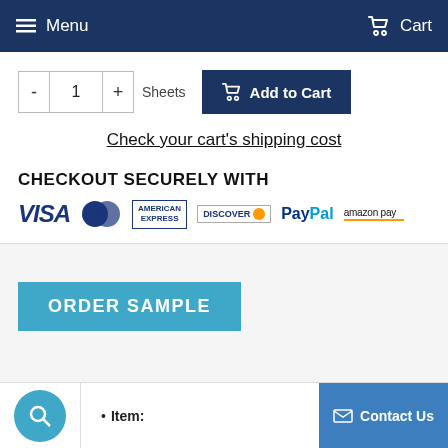Menu   Cart
- 1 + Sheets   Add to Cart
Check your cart's shipping cost
CHECKOUT SECURELY WITH
[Figure (logo): Payment logos: VISA, Mastercard, American Express, Discover, PayPal, Amazon Pay]
ORDER SAMPLE
Item:   Contact Us